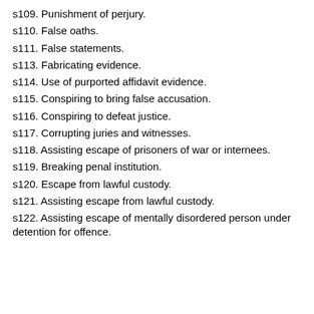s109. Punishment of perjury.
s110. False oaths.
s111. False statements.
s113. Fabricating evidence.
s114. Use of purported affidavit evidence.
s115. Conspiring to bring false accusation.
s116. Conspiring to defeat justice.
s117. Corrupting juries and witnesses.
s118. Assisting escape of prisoners of war or internees.
s119. Breaking penal institution.
s120. Escape from lawful custody.
s121. Assisting escape from lawful custody.
s122. Assisting escape of mentally disordered person under detention for offence.